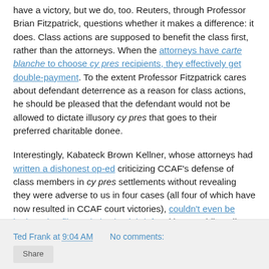have a victory, but we do, too. Reuters, through Professor Brian Fitzpatrick, questions whether it makes a difference: it does. Class actions are supposed to benefit the class first, rather than the attorneys. When the attorneys have carte blanche to choose cy pres recipients, they effectively get double-payment. To the extent Professor Fitzpatrick cares about defendant deterrence as a reason for class actions, he should be pleased that the defendant would not be allowed to dictate illusory cy pres that goes to their preferred charitable donee.
Interestingly, Kabateck Brown Kellner, whose attorneys had written a dishonest op-ed criticizing CCAF's defense of class members in cy pres settlements without revealing they were adverse to us in four cases (all four of which have now resulted in CCAF court victories), couldn't even be bothered to file a Ninth Circuit brief making a public-policy argument for their preferred tactic of abusive cy pres.
Ted Frank at 9:04 AM   No comments: